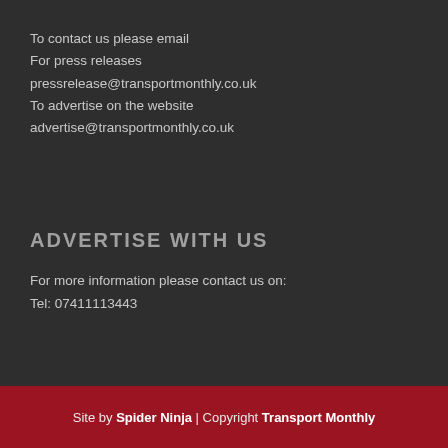To contact us please email
For press releases
pressrelease@transportmonthly.co.uk
To advertise on the website
advertise@transportmonthly.co.uk
ADVERTISE WITH US
For more information please contact us on:
Tel: 07411113443
Site by Spider Ninja | Copyright Transport Monthly